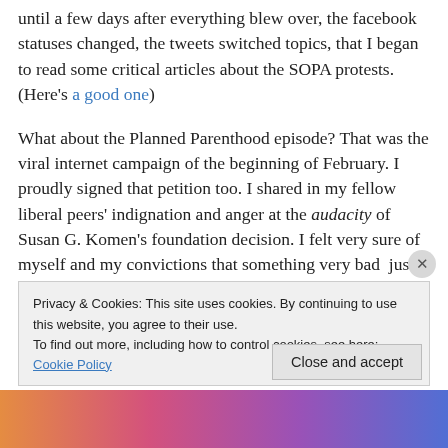until a few days after everything blew over, the facebook statuses changed, the tweets switched topics, that I began to read some critical articles about the SOPA protests. (Here's a good one)
What about the Planned Parenthood episode? That was the viral internet campaign of the beginning of February. I proudly signed that petition too. I shared in my fellow liberal peers' indignation and anger at the audacity of Susan G. Komen's foundation decision. I felt very sure of myself and my convictions that something very bad just
Privacy & Cookies: This site uses cookies. By continuing to use this website, you agree to their use.
To find out more, including how to control cookies, see here: Cookie Policy